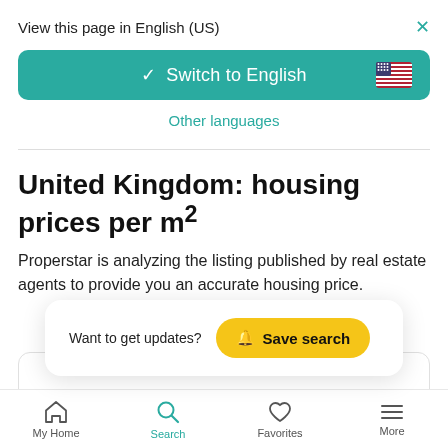View this page in English (US)
Switch to English
Other languages
United Kingdom: housing prices per m²
Properstar is analyzing the listing published by real estate agents to provide you an accurate housing price.
Want to get updates?  Save search
My Home  Search  Favorites  More